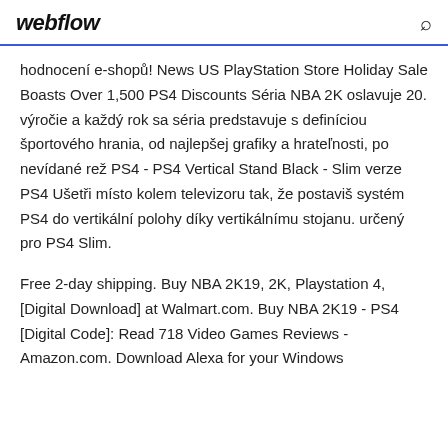webflow
hodnocení e-shopů! News US PlayStation Store Holiday Sale Boasts Over 1,500 PS4 Discounts Séria NBA 2K oslavuje 20. výročie a každý rok sa séria predstavuje s definíciou športového hrania, od najlepšej grafiky a hrateľnosti, po nevídané rež PS4 - PS4 Vertical Stand Black - Slim verze PS4 Ušetři místo kolem televizoru tak, že postaviš systém PS4 do vertikální polohy díky vertikálnímu stojanu. určený pro PS4 Slim.
Free 2-day shipping. Buy NBA 2K19, 2K, Playstation 4, [Digital Download] at Walmart.com. Buy NBA 2K19 - PS4 [Digital Code]: Read 718 Video Games Reviews - Amazon.com. Download Alexa for your Windows